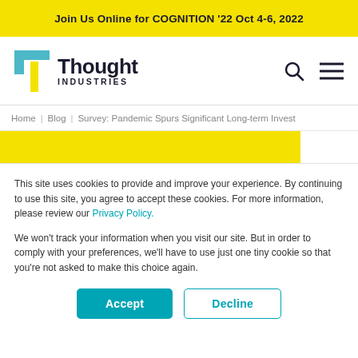Join Us Online for COGNITION '22 Oct 4-6, 2022
[Figure (logo): Thought Industries logo with teal and yellow T icon and bold text]
Home  Blog  Survey: Pandemic Spurs Significant Long-term Invest
This site uses cookies to provide and improve your experience. By continuing to use this site, you agree to accept these cookies. For more information, please review our Privacy Policy.

We won't track your information when you visit our site. But in order to comply with your preferences, we'll have to use just one tiny cookie so that you're not asked to make this choice again.
Accept
Decline